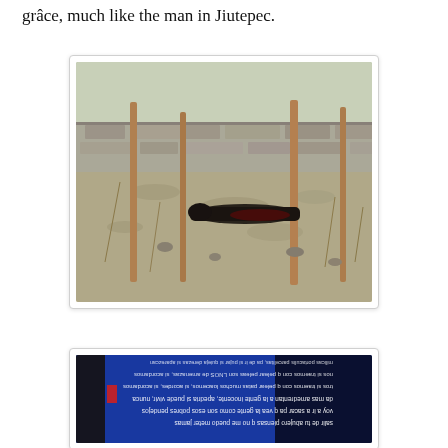grâce, much like the man in Jiutepec.
[Figure (photo): Outdoor crime scene photo showing a body lying on dry ground near wooden posts and a stone wall in the background, with dried vegetation scattered around.]
[Figure (photo): Partially visible narco banner (narcomantas) with Spanish text written in reverse/upside down on a blue and dark background.]